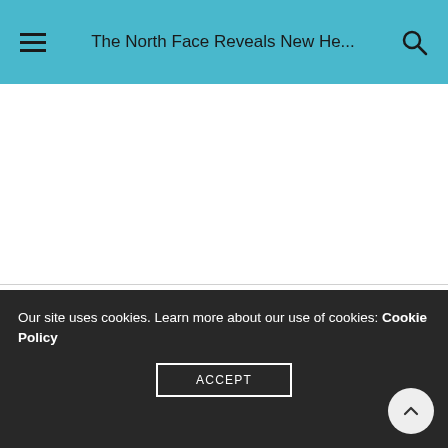The North Face Reveals New He...
CONTACT US
Email:
Our site uses cookies. Learn more about our use of cookies: Cookie Policy
ACCEPT